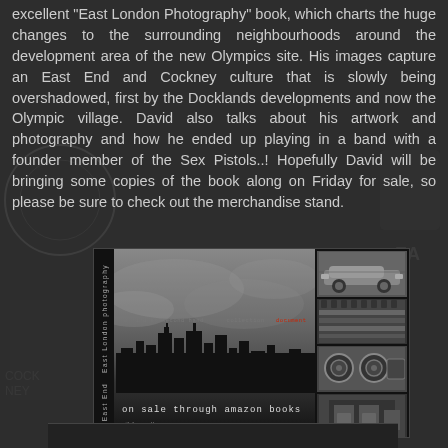excellent "East London Photography" book, which charts the huge changes to the surrounding neighbourhoods around the development area of the new Olympics site. His images capture an East End and Cockney culture that is slowly being overshadowed, first by the Docklands developments and now the Olympic village. David also talks about his artwork and photography and how he ended up playing in a band with a founder member of the Sex Pistols..! Hopefully David will be bringing some copies of the book along on Friday for sale, so please be sure to check out the merchandise stand.
[Figure (photo): Cover of 'East London Photography' book showing city skyline silhouette with text 'on sale through amazon books', plus thumbnail strip of 4 black and white photographs on the right side]